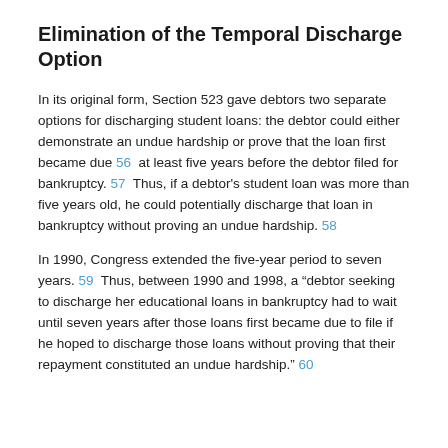Elimination of the Temporal Discharge Option
In its original form, Section 523 gave debtors two separate options for discharging student loans: the debtor could either demonstrate an undue hardship or prove that the loan first became due 56 at least five years before the debtor filed for bankruptcy. 57 Thus, if a debtor's student loan was more than five years old, he could potentially discharge that loan in bankruptcy without proving an undue hardship. 58
In 1990, Congress extended the five-year period to seven years. 59 Thus, between 1990 and 1998, a "debtor seeking to discharge her educational loans in bankruptcy had to wait until seven years after those loans first became due to file if he hoped to discharge those loans without proving that their repayment constituted an undue hardship." 60